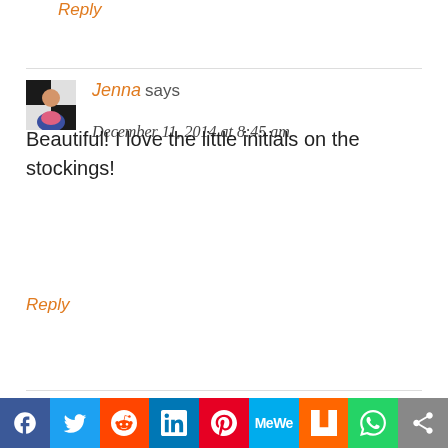Reply
Jenna says
December 11, 2014 at 8:45 am
Beautiful! I love the little initials on the stockings!
Reply
Allison @ The Golden Sycamore says
[Figure (other): Social sharing bar with Facebook, Twitter, Reddit, LinkedIn, Pinterest, MeWe, Mix, WhatsApp, and share icons]